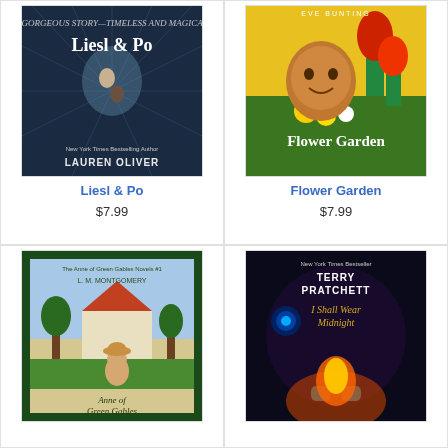[Figure (illustration): Book cover of Liesl & Po by Lauren Oliver, showing two figures floating in a dark starry sky with radiating light beams]
Liesl & Po
$7.99
[Figure (illustration): Book cover of Flower Garden by Eve Bunting, showing a young girl surrounded by colorful flowers including red tulips]
Flower Garden
$7.99
[Figure (illustration): Book cover of Anne of Green Gables by L.M. Montgomery, The Anne of Green Gables Novels #1, showing a girl in a hat in front of a house]
[Figure (illustration): Book cover of I Shall Wear Midnight by Terry Pratchett, New York Times Bestseller, showing fantasy imagery with fire and dark tones]